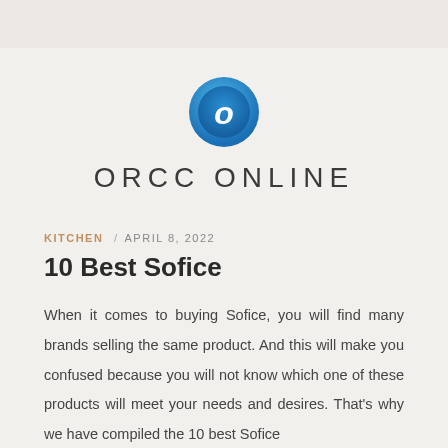[Figure (logo): ORCC Online logo: a blue gradient circle with a white letter O inside, above the text ORCC ONLINE in spaced sans-serif letters]
KITCHEN / APRIL 8, 2022
10 Best Sofice
When it comes to buying Sofice, you will find many brands selling the same product. And this will make you confused because you will not know which one of these products will meet your needs and desires. That's why we have compiled the 10 best Sofice